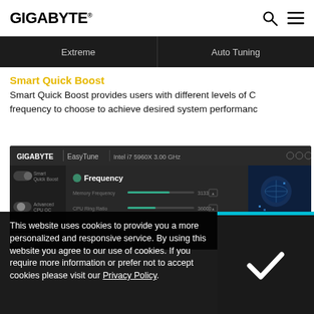GIGABYTE
| Extreme | Auto Tuning |
| --- | --- |
Smart Quick Boost
Smart Quick Boost provides users with different levels of CPU frequency to choose to achieve desired system performance.
[Figure (screenshot): GIGABYTE EasyTune application screenshot showing Intel i7 5960X 3.00 GHz with Frequency panel, Smart Quick Boost and Advanced CPU OC options, and sliders for Memory Frequency and CPU Ring Ratio]
[Figure (infographic): 3D INDUSTRY banner in blue tones]
This website uses cookies to provide you a more personalized and responsive service. By using this website you agree to our use of cookies. If you require more information or prefer not to accept cookies please visit our Privacy Policy.